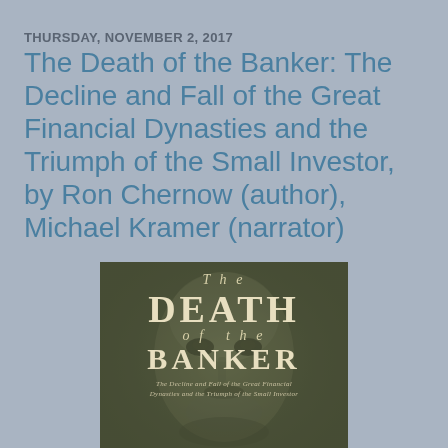THURSDAY, NOVEMBER 2, 2017
The Death of the Banker: The Decline and Fall of the Great Financial Dynasties and the Triumph of the Small Investor, by Ron Chernow (author), Michael Kramer (narrator)
[Figure (photo): Book cover of 'The Death of the Banker' showing a sepia/green-toned portrait of a man's face in the background, with the title text 'The Death of the Banker' in large serif letters and subtitle 'The Decline and Fall of the Great Financial Dynasties and the Triumph of the Small Investor' in smaller italic text at the bottom.]